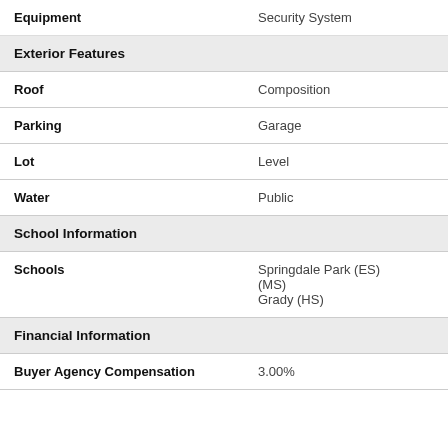| Field | Value |
| --- | --- |
| Equipment | Security System |
| Exterior Features |  |
| Roof | Composition |
| Parking | Garage |
| Lot | Level |
| Water | Public |
| School Information |  |
| Schools | Springdale Park (ES)
(MS)
Grady (HS) |
| Financial Information |  |
| Buyer Agency Compensation | 3.00% |